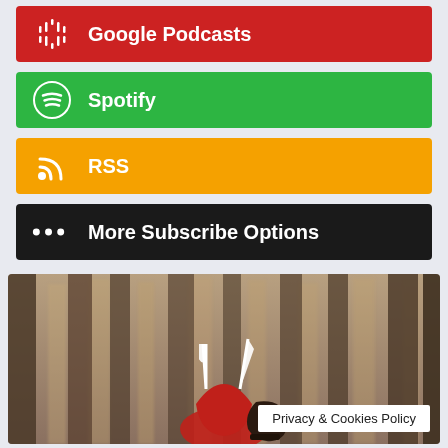[Figure (screenshot): Google Podcasts red button bar with icon]
[Figure (screenshot): Spotify green button bar with Spotify logo icon]
[Figure (screenshot): RSS orange button bar with RSS feed icon]
[Figure (screenshot): More Subscribe Options dark button bar with ellipsis icon]
[Figure (photo): Misty forest photo with crossed fork and knife logo and Privacy & Cookies Policy badge]